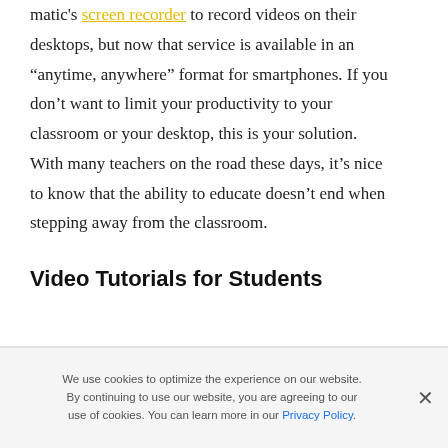matic's screen recorder to record videos on their desktops, but now that service is available in an “anytime, anywhere” format for smartphones. If you don’t want to limit your productivity to your classroom or your desktop, this is your solution. With many teachers on the road these days, it’s nice to know that the ability to educate doesn’t end when stepping away from the classroom.
Video Tutorials for Students
We use cookies to optimize the experience on our website. By continuing to use our website, you are agreeing to our use of cookies. You can learn more in our Privacy Policy.